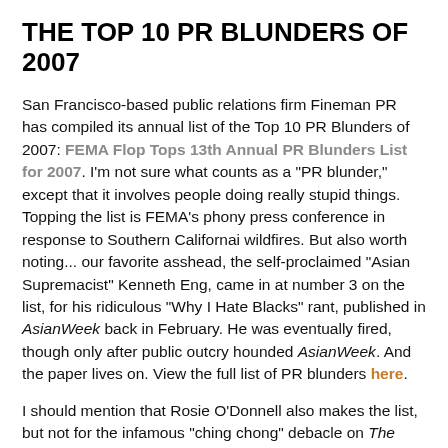THE TOP 10 PR BLUNDERS OF 2007
San Francisco-based public relations firm Fineman PR has compiled its annual list of the Top 10 PR Blunders of 2007: FEMA Flop Tops 13th Annual PR Blunders List for 2007. I'm not sure what counts as a "PR blunder," except that it involves people doing really stupid things. Topping the list is FEMA's phony press conference in response to Southern Californai wildfires. But also worth noting... our favorite asshead, the self-proclaimed "Asian Supremacist" Kenneth Eng, came in at number 3 on the list, for his ridiculous "Why I Hate Blacks" rant, published in AsianWeek back in February. He was eventually fired, though only after public outcry hounded AsianWeek. And the paper lives on. View the full list of PR blunders here.
I should mention that Rosie O'Donnell also makes the list, but not for the infamous "ching chong" debacle on The View that made us so angry. If you recall, that actually occurred in late 2006. Though I doubt the rest of America cared enough for it to make this list. No, she's mentioned here for messing